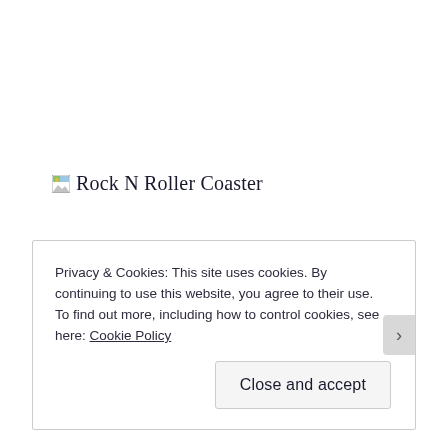[Figure (other): Broken image placeholder with alt text 'Rock N Roller Coaster'. Shows a small broken image icon followed by the text label.]
Privacy & Cookies: This site uses cookies. By continuing to use this website, you agree to their use.
To find out more, including how to control cookies, see here: Cookie Policy
Close and accept